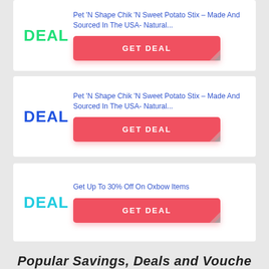DEAL
Pet 'N Shape Chik 'N Sweet Potato Stix – Made And Sourced In The USA- Natural...
GET DEAL
DEAL
Pet 'N Shape Chik 'N Sweet Potato Stix – Made And Sourced In The USA- Natural...
GET DEAL
DEAL
Get Up To 30% Off On Oxbow Items
GET DEAL